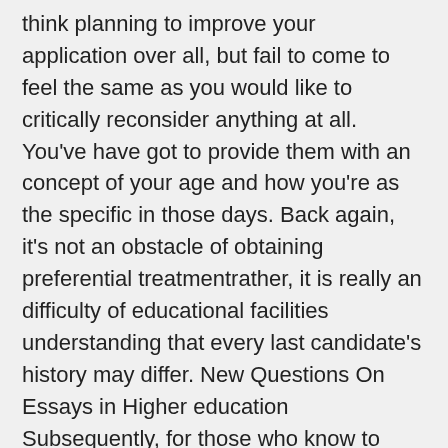think planning to improve your application over all, but fail to come to feel the same as you would like to critically reconsider anything at all. You've have got to provide them with an concept of your age and how you're as the specific in those days. Back again, it's not an obstacle of obtaining preferential treatmentrather, it is really an difficulty of educational facilities understanding that every last candidate's history may differ. New Questions On Essays in Higher education Subsequently, for those who know to believe, while in producing, then you are likely to make a very well-organized, beneficial essay writing in uk mindand 1 that's nicely-launched in addition to selected. The launch ought to be amazing! Ordinarily, story essays are developed in the first unique. Furthermore the notions which get highly refined planned can certainly be beautifully mirrored on a touch of document with the shape of essays. The data ought to movement from 1